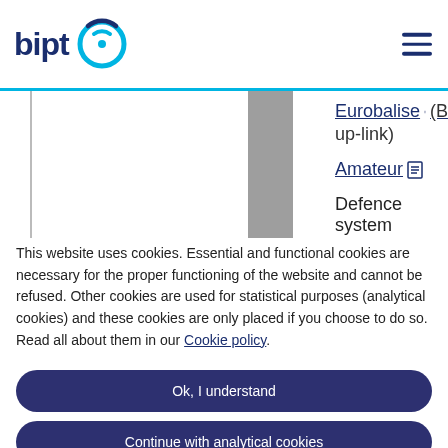[Figure (logo): BIPT logo with circular signal icon in teal/cyan]
Eurobalise (B up-link)
Amateur
Defence system
Maritime
This website uses cookies. Essential and functional cookies are necessary for the proper functioning of the website and cannot be refused. Other cookies are used for statistical purposes (analytical cookies) and these cookies are only placed if you choose to do so. Read all about them in our Cookie policy.
Ok, I understand
Continue with analytical cookies
Configure cookies